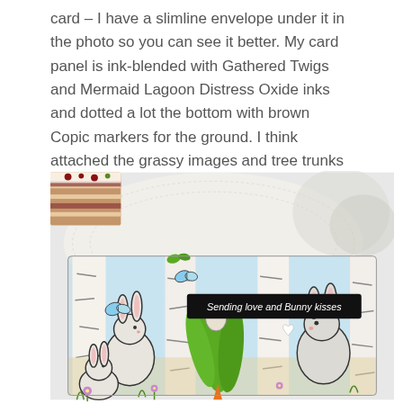card – I have a slimline envelope under it in the photo so you can see it better. My card panel is ink-blended with Gathered Twigs and Mermaid Lagoon Distress Oxide inks and dotted a lot the bottom with brown Copic markers for the ground. I think attached the grassy images and tree trunks as the base.
[Figure (photo): A handmade greeting card featuring illustrated bunnies, butterflies, flowers, and green plants against birch tree trunks on a light blue background. A black banner reads 'Sending love and Bunny kisses'. The card is photographed on a white lace doily surface with a piece of cake visible in the upper left corner.]